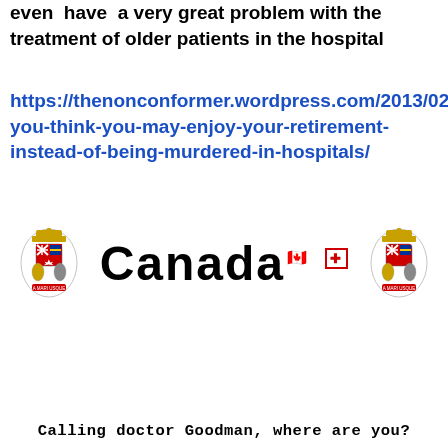even have a very great problem with the treatment of older patients in the hospital
https://thenonconformer.wordpress.com/2013/02/06/so-you-think-you-may-enjoy-your-retirement-instead-of-being-murdered-in-hospitals/
[Figure (illustration): Canada government header with coat of arms crests on each side, large 'Canada' text with maple leaf flag icon, and a cartoon illustration of a doctor/nurse at a computer workstation with a monitor showing 'WE CARE BEST LIE Extra Billings Apply', a sign box reading 'WHERE ARE THE DOCTORS WHEN YOU NEED THEM? ELSEWHERE' with McGill University Health Centre logo]
Calling doctor Goodman, where are you?